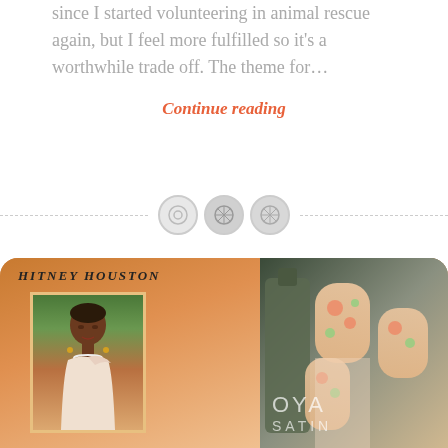since I started volunteering in animal rescue again, but I feel more fulfilled so it's a worthwhile trade off. The theme for...
Continue reading
[Figure (illustration): Decorative divider with three circular button icons and dashed lines on either side]
[Figure (photo): Collage image: left side shows a Whitney Houston album cover style image with an orange/peach gradient background and a photo of a Black woman in a white draped dress with pearl necklace and short hair; right side shows close-up of manicured nails with peach and green floral nail art next to a Zoya Satin nail polish bottle]